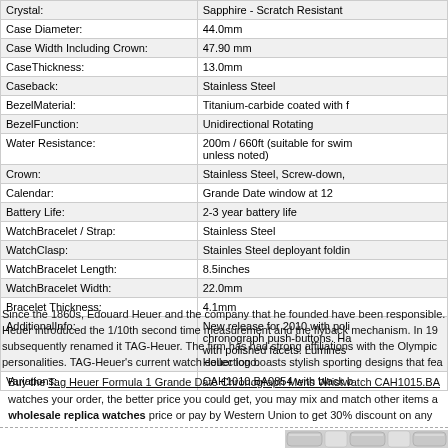| Property | Value |
| --- | --- |
| Crystal: | Sapphire - Scratch Resistant |
| Case Diameter: | 44.0mm |
| Case Width Including Crown: | 47.90 mm |
| CaseThickness: | 13.0mm |
| Caseback: | Stainless Steel |
| BezelMaterial: | Titanium-carbide coated with f |
| BezelFunction: | Unidirectional Rotating |
| Water Resistance: | 200m / 660ft (suitable for swim unless noted) |
| Crown: | Stainless Steel, Screw-down, |
| Calendar: | Grande Date window at 12 |
| Battery Life: | 2-3 year battery life |
| WatchBracelet / Strap: | Stainless Steel |
| WatchClasp: | Stainles Steel deployant foldin |
| WatchBracelet Length: | 8.5inches |
| WatchBracelet Width: | 22.0mm |
| Bracelet Thickness: | 4.1mm |
| AdditionalInfo: | New release for 2010 with poli chronograph push-buttons. Ha with polished facets. Lumines Heuer logo. |
| Variations: | CAH1010.BA0854 with black b |
Since the 1860s, Edouard Heuer and the company that he founded have been responsible. Heuer introduced the 1/10th second time measurement and the flyback mechanism. In 19 subsequently renamed it TAG-Heuer. The firm has had strong affiliations with the Olympic personalities. TAG-Heuer's current watch collection boasts stylish sporting designs that fea
Buy the Tag Heuer Formula 1 Grande Date Chronograph Mens Wristwatch CAH1015.BA watches your order, the better price you could get, you may mix and match other items a wholesale replica watches price or pay by Western Union to get 30% discount on any
[Figure (photo): Partial view of a stainless steel watch bracelet/clasp at bottom of page]